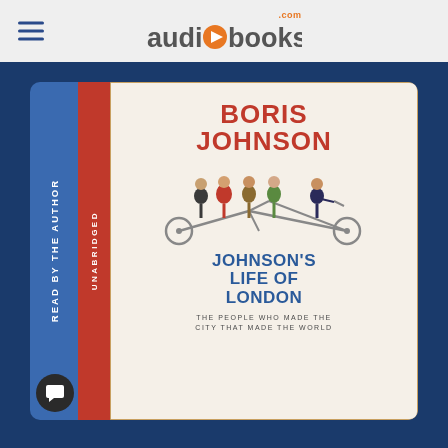audiobooks.com
[Figure (illustration): Audiobook product page screenshot showing the cover of 'Johnson's Life of London' by Boris Johnson, read by the author, unabridged. The book cover features the author's name in red, an illustration of people riding a tandem bicycle, and the title in blue. The spine shows 'READ BY THE AUTHOR' in blue and 'UNABRIDGED' in red.]